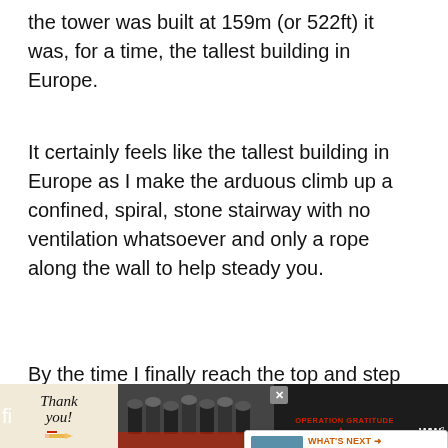the tower was built at 159m (or 522ft) it was, for a time, the tallest building in Europe.
It certainly feels like the tallest building in Europe as I make the arduous climb up a confined, spiral, stone stairway with no ventilation whatsoever and only a rope along the wall to help steady you.
By the time I finally reach the top and step o... onto the narrow viewing platform, I h... stop for a minute to enjoy the cool blast of air that greets me. I quickly recover when I get my fi... wmnd
[Figure (screenshot): Bottom ad bar with 'Thank you' note image, Operation Gratitude ad with firefighters photo, close button X, and sound icon. Also a 'What's Next' overlay showing Washington's San Juan... card with coastal photo, and a share icon button.]